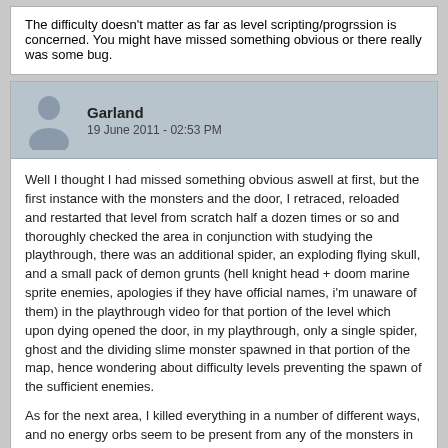The difficulty doesn't matter as far as level scripting/progrssion is concerned. You might have missed something obvious or there really was some bug.
Garland
19 June 2011 - 02:53 PM
Well I thought I had missed something obvious aswell at first, but the first instance with the monsters and the door, I retraced, reloaded and restarted that level from scratch half a dozen times or so and thoroughly checked the area in conjunction with studying the playthrough, there was an additional spider, an exploding flying skull, and a small pack of demon grunts (hell knight head + doom marine sprite enemies, apologies if they have official names, i'm unaware of them) in the playthrough video for that portion of the level which upon dying opened the door, in my playthrough, only a single spider, ghost and the dividing slime monster spawned in that portion of the map, hence wondering about difficulty levels preventing the spawn of the sufficient enemies.

As for the next area, I killed everything in a number of different ways, and no energy orbs seem to be present from any of the monsters in